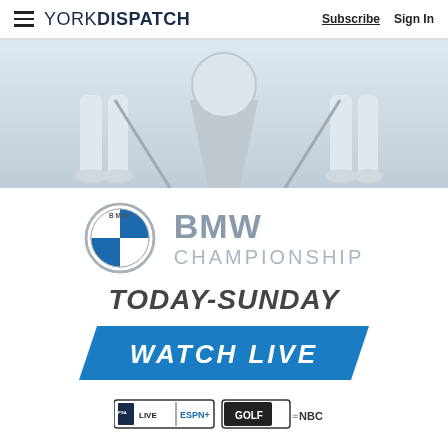YORK DISPATCH | Subscribe | Sign In
[Figure (photo): Hero banner image showing golfers' legs and a trophy, light grey/blue background]
[Figure (logo): BMW Championship advertisement with BMW logo, text reading BMW CHAMPIONSHIP, TODAY-SUNDAY, WATCH LIVE, with PGA Tour Live / ESPN+, Golf Channel, and NBC logos]
BMW CHAMPIONSHIP
TODAY-SUNDAY
WATCH LIVE
PGA LIVE | ESPN+ | GOLF | NBC